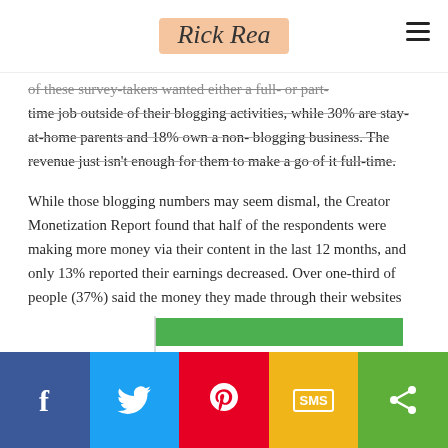Rick Rea
of these survey-takers wanted either a full- or part-time job outside of their blogging activities, while 30% are stay-at-home parents and 18% own a non-blogging business. The revenue just isn't enough for them to make a go of it full-time.
While those blogging numbers may seem dismal, the Creator Monetization Report found that half of the respondents were making more money via their content in the last 12 months, and only 13% reported their earnings decreased. Over one-third of people (37%) said the money they made through their websites remained the same.
[Figure (bar-chart): Partially visible bar chart at the bottom of the page]
Social share bar: Facebook, Twitter, Pinterest, SMS, Share